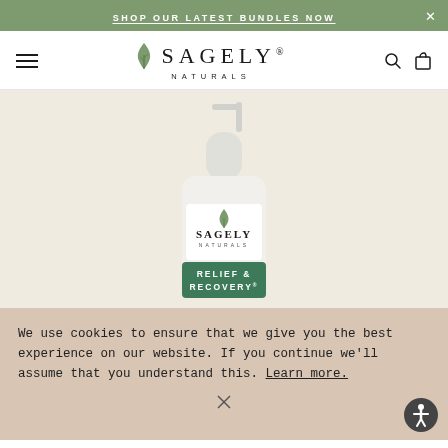SHOP OUR LATEST BUNDLES NOW
[Figure (logo): Sagely Naturals logo with leaf icon and text SAGELY NATURALS]
[Figure (photo): Sagely Naturals Relief & Recovery pump bottle product photo on beige background]
We use cookies to ensure that we give you the best experience on our website. If you continue we'll assume that you understand this. Learn more.